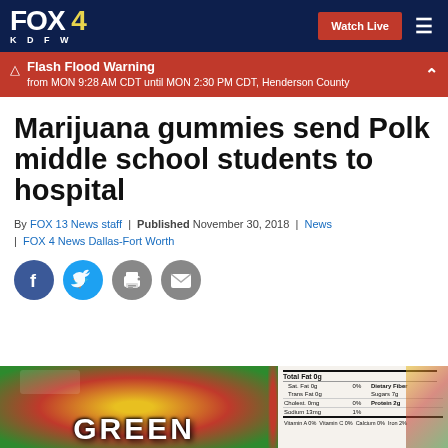FOX 4 KDFW — Watch Live
Flash Flood Warning
from MON 9:28 AM CDT until MON 2:30 PM CDT, Henderson County
Marijuana gummies send Polk middle school students to hospital
By FOX 13 News staff | Published November 30, 2018 | News | FOX 4 News Dallas-Fort Worth
[Figure (screenshot): Social sharing icons: Facebook, Twitter, Print, Email]
[Figure (photo): Two photos: left shows colorful marijuana gummy candy package with GREEN text; right shows nutrition label with: Total Fat 0g, Sat. Fat 0g 0%, Trans Fat 0g, Cholest. 0mg 0%, Sodium 13mg 1%, Dietary Fiber, Sugars 7g, Protein 2g, Vitamin A 0%, Vitamin C 0%, Calcium 0%, Iron 2%]